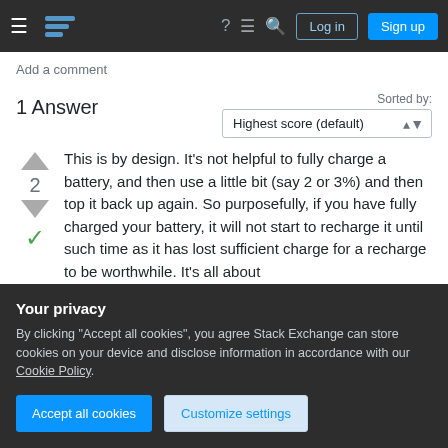Stack Exchange navigation bar with hamburger menu, logo, icons, Log in and Sign up buttons
Add a comment
1 Answer
Sorted by: Highest score (default)
This is by design. It's not helpful to fully charge a battery, and then use a little bit (say 2 or 3%) and then top it back up again. So purposefully, if you have fully charged your battery, it will not start to recharge it until such time as it has lost sufficient charge for a recharge to be worthwhile. It's all about
Your privacy
By clicking "Accept all cookies", you agree Stack Exchange can store cookies on your device and disclose information in accordance with our Cookie Policy.
Accept all cookies
Customize settings